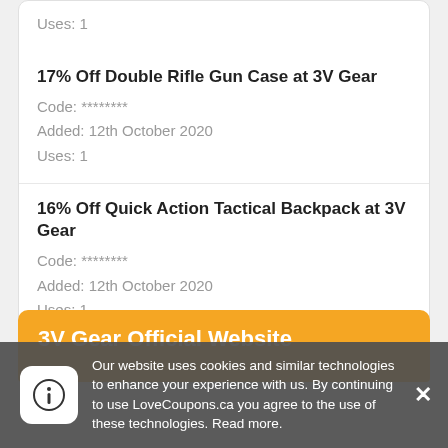Uses: 1
17% Off Double Rifle Gun Case at 3V Gear
Code: ********
Added: 12th October 2020
Uses: 1
16% Off Quick Action Tactical Backpack at 3V Gear
Code: ********
Added: 12th October 2020
Uses: 1
3V Gear Official Website
Our website uses cookies and similar technologies to enhance your experience with us. By continuing to use LoveCoupons.ca you agree to the use of these technologies. Read more.